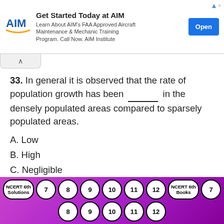[Figure (infographic): Advertisement banner for AIM Institute: 'Get Started Today at AIM. Learn About AIM's FAA Approved Aircraft Maintenance & Mechanic Training Program. Call Now. AIM Institute' with Open button.]
33. In general it is observed that the rate of population growth has been _______ in the densely populated areas compared to sparsely populated areas.
A. Low
B. High
C. Negligible
D. Almost the same
▶ Answer
[Figure (infographic): Bottom navigation strip with numbered circles: NCERT 6th Solutions, 7, 8, 9, 10, 11, 12, NCERT 6th Books, 7 (top row); 8, 9, 10, 11, 12 (bottom row). Purple/magenta gradient background.]